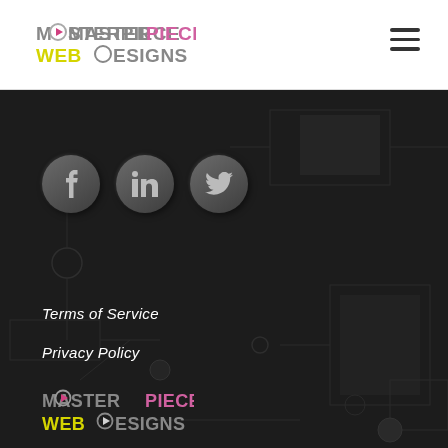[Figure (logo): Masterpiece Web Designs logo in header — MASTERPIECE in gray/pink, WEB DESIGNS in yellow, with circle icons]
[Figure (other): Hamburger menu icon (three horizontal lines) in top right corner]
[Figure (other): Three circular social media buttons: Facebook (f), LinkedIn (in), Twitter (bird icon) on dark background]
Terms of Service
Privacy Policy
[Figure (logo): Masterpiece Web Designs logo in footer on dark background — MASTERPIECE in gray/pink, WEB DESIGNS in yellow]
Website Design from